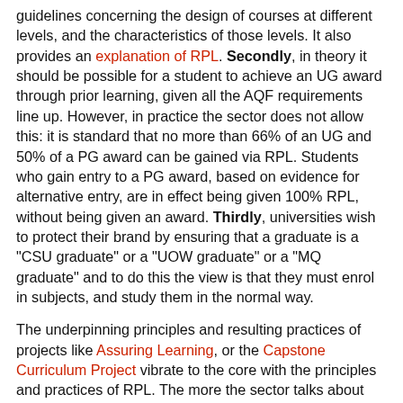guidelines concerning the design of courses at different levels, and the characteristics of those levels. It also provides an explanation of RPL. Secondly, in theory it should be possible for a student to achieve an UG award through prior learning, given all the AQF requirements line up. However, in practice the sector does not allow this: it is standard that no more than 66% of an UG and 50% of a PG award can be gained via RPL. Students who gain entry to a PG award, based on evidence for alternative entry, are in effect being given 100% RPL, without being given an award. Thirdly, universities wish to protect their brand by ensuring that a graduate is a "CSU graduate" or a "UOW graduate" or a "MQ graduate" and to do this the view is that they must enrol in subjects, and study them in the normal way.
The underpinning principles and resulting practices of projects like Assuring Learning, or the Capstone Curriculum Project vibrate to the core with the principles and practices of RPL. The more the sector talks about course learning outcomes (CLOs), assuring learning, assessment, authenticity and evidence, the more likely RPL is to flourish. I am placing great hopes on the Assuring Graduate